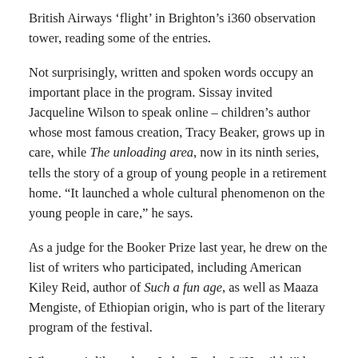British Airways ‘flight’ in Brighton’s i360 observation tower, reading some of the entries.
Not surprisingly, written and spoken words occupy an important place in the program. Sissay invited Jacqueline Wilson to speak online – children’s author whose most famous creation, Tracy Beaker, grows up in care, while The unloading area, now in its ninth series, tells the story of a group of young people in a retirement home. “It launched a whole cultural phenomenon on the young people in care,” he says.
As a judge for the Booker Prize last year, he drew on the list of writers who participated, including American Kiley Reid, author of Such a fun age, as well as Maaza Mengiste, of Ethiopian origin, who is part of the literary program of the festival.
What was it like to be a Judge Booker? “Horrible!” he leans